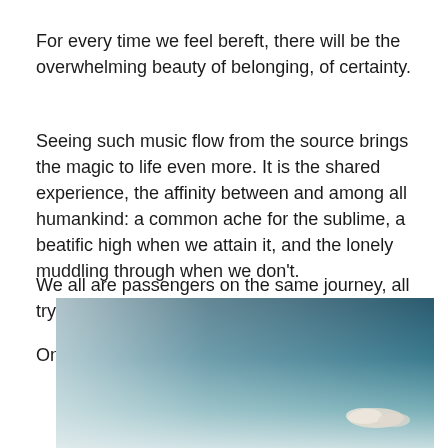For every time we feel bereft, there will be the overwhelming beauty of belonging, of certainty.
Seeing such music flow from the source brings the magic to life even more. It is the shared experience, the affinity between and among all humankind: a common ache for the sublime, a beatific high when we attain it, and the lonely muddling through when we don't.
We all are passengers on the same journey, all trying to find our way.
On nights like this, our souls travel together.
[Figure (photo): A sky photograph with a dark teal upper sky and lighter misty lower sky, with a small white cloud visible in the lower right area.]